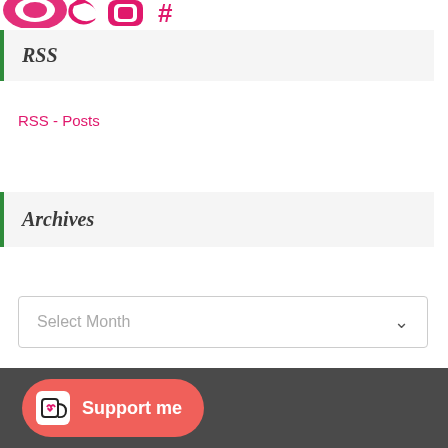[Figure (logo): Partially visible pink/magenta social media or brand icons at top of page]
RSS
RSS - Posts
Archives
Select Month
[Figure (illustration): Support me button with Ko-fi cup icon on dark gray footer bar]